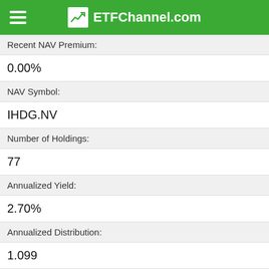ETFChannel.com
Recent NAV Premium:
0.00%
NAV Symbol:
IHDG.NV
Number of Holdings:
77
Annualized Yield:
2.70%
Annualized Distribution:
1.099
IHDG Dividend History »
IHDG — TOP STOCK HOLDINGS
| Stock | Weight | Amount |
| --- | --- | --- |